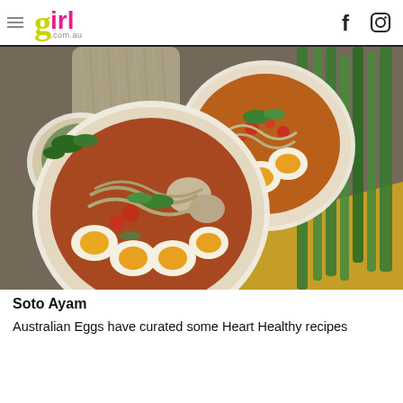girl.com.au
[Figure (photo): Overhead view of two bowls of Soto Ayam (Indonesian chicken soup) with sliced boiled eggs, noodles, mushrooms, tomatoes, herbs, and garnishes, alongside green onions and a yellow cloth on a wooden surface.]
Soto Ayam
Australian Eggs have curated some Heart Healthy recipes